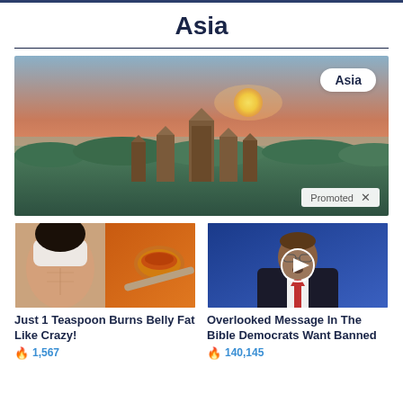Asia
[Figure (photo): Aerial view of Angkor Wat temple complex surrounded by dense jungle canopy at sunset with a bright orange sun on the horizon, with an 'Asia' badge overlay and 'Promoted' label]
[Figure (photo): Woman showing toned abs next to a spoon of orange spice powder — thumbnail for 'Just 1 Teaspoon Burns Belly Fat Like Crazy!']
Just 1 Teaspoon Burns Belly Fat Like Crazy!
🔥 1,567
[Figure (photo): Older man in suit speaking at a podium with blue background — video thumbnail for 'Overlooked Message In The Bible Democrats Want Banned']
Overlooked Message In The Bible Democrats Want Banned
🔥 140,145